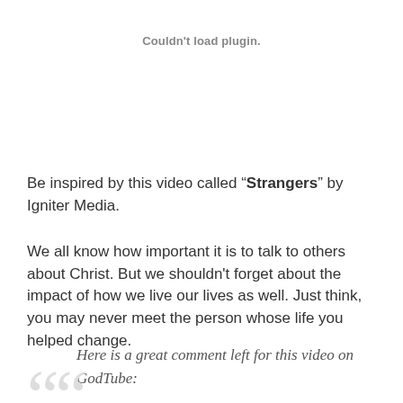Couldn't load plugin.
Be inspired by this video called “Strangers” by Igniter Media.
We all know how important it is to talk to others about Christ. But we shouldn’t forget about the impact of how we live our lives as well. Just think, you may never meet the person whose life you helped change.
Here is a great comment left for this video on GodTube: